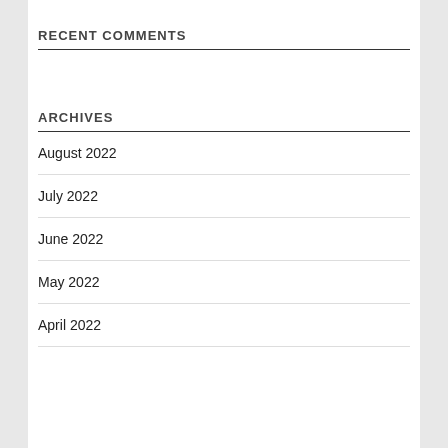RECENT COMMENTS
ARCHIVES
August 2022
July 2022
June 2022
May 2022
April 2022